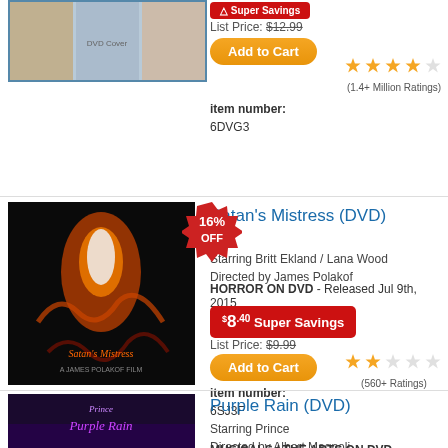[Figure (photo): Partial DVD product image at top of page]
Super Savings
List Price: $12.99
Add to Cart
(1.4+ Million Ratings)
item number: 6DVG3
[Figure (photo): Satan's Mistress DVD cover art - horror movie with orange flame figure]
16% OFF
Satan's Mistress (DVD)
Starring Britt Ekland / Lana Wood
Directed by James Polakof
HORROR ON DVD - Released Jul 9th, 2015
$8.40 Super Savings
List Price: $9.99
Add to Cart
(560+ Ratings)
item number: 6SJ3F
[Figure (photo): Purple Rain DVD cover art - Prince movie]
Purple Rain (DVD)
Starring Prince
Directed by Albert Magnoli
MUSICALS / THE ARTS ON DVD - Released Aug 22nd, 1997